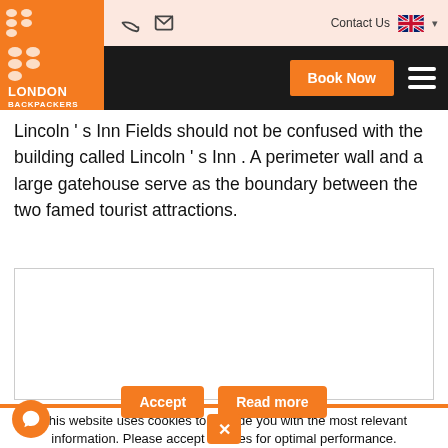London Backpackers — Contact Us
Lincoln's Inn Fields should not be confused with the building called Lincoln's Inn . A perimeter wall and a large gatehouse serve as the boundary between the two famed tourist attractions.
[Figure (photo): White empty image placeholder box with border]
This website uses cookies to provide you with the most relevant information. Please accept cookies for optimal performance.
Accept   Read more   ✕